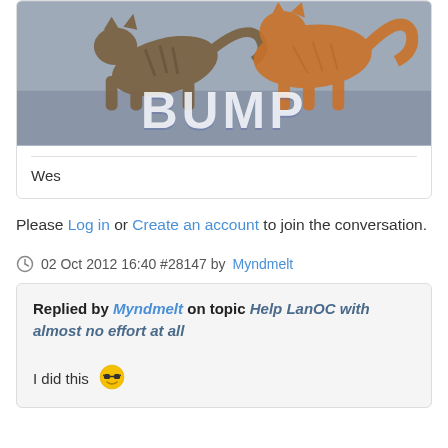[Figure (photo): Photo of two cats fighting/bumping with large white bold text 'BUMP' overlaid at the bottom]
Wes
Please Log in or Create an account to join the conversation.
02 Oct 2012 16:40 #28147 by Myndmelt
Replied by Myndmelt on topic Help LanOC with almost no effort at all
I did this 😎